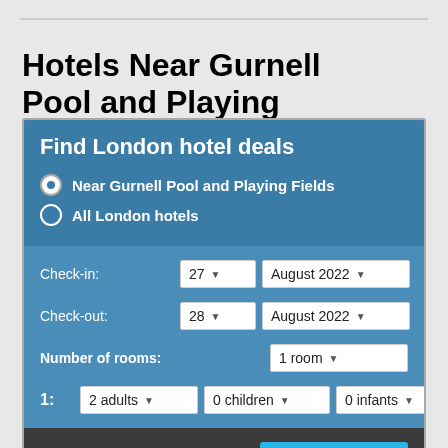Hotels Near Gurnell Pool and Playing Fields
Find London hotel deals
Near Gurnell Pool and Playing Fields
All London hotels
Check-in: 27 August 2022
Check-out: 28 August 2022
Number of rooms: 1 room
1: 2 adults 0 children 0 infants
Find my hotel